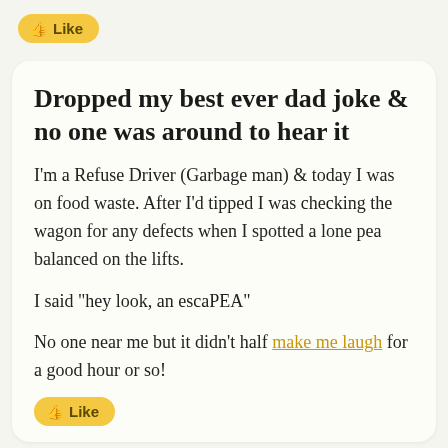[Figure (screenshot): Yellow 'Like' button with thumb icon at top of interface]
Dropped my best ever dad joke & no one was around to hear it
I'm a Refuse Driver (Garbage man) & today I was on food waste. After I'd tipped I was checking the wagon for any defects when I spotted a lone pea balanced on the lifts.

I said "hey look, an escaPEA"

No one near me but it didn't half make me laugh for a good hour or so!
[Figure (screenshot): Yellow 'Like' button partially visible at bottom]